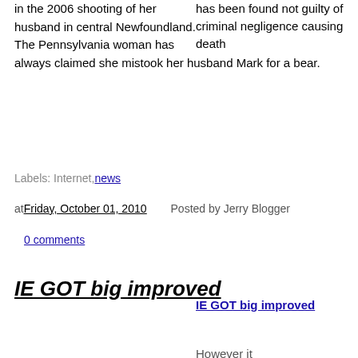has been found not guilty of criminal negligence causing death in the 2006 shooting of her husband in central Newfoundland. The Pennsylvania woman has always claimed she mistook her husband Mark for a bear.
Labels: Internet, news
at Friday, October 01, 2010   Posted by Jerry Blogger
0 comments
IE GOT big improved
IE GOT big improved
However it